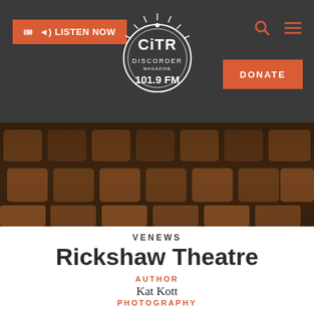CiTR Discorder 101.9 FM — LISTEN NOW | DONATE | Search | Menu
[Figure (logo): CiTR Discorder 101.9 FM circular logo in white on dark background]
[Figure (photo): Wide-angle photo of rows of empty brown theatre seats]
VENEWS
Rickshaw Theatre
AUTHOR
Kat Kott
PHOTOGRAPHY
Sara Baar
ILLUSTRATION